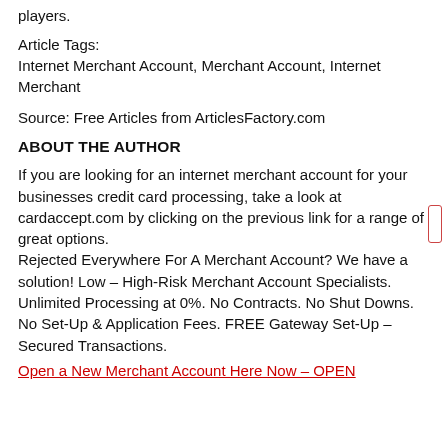players.
Article Tags:
Internet Merchant Account, Merchant Account, Internet Merchant
Source: Free Articles from ArticlesFactory.com
ABOUT THE AUTHOR
If you are looking for an internet merchant account for your businesses credit card processing, take a look at cardaccept.com by clicking on the previous link for a range of great options.
Rejected Everywhere For A Merchant Account? We have a solution! Low – High-Risk Merchant Account Specialists. Unlimited Processing at 0%. No Contracts. No Shut Downs. No Set-Up & Application Fees. FREE Gateway Set-Up – Secured Transactions.
Open a New Merchant Account Here Now – OPEN